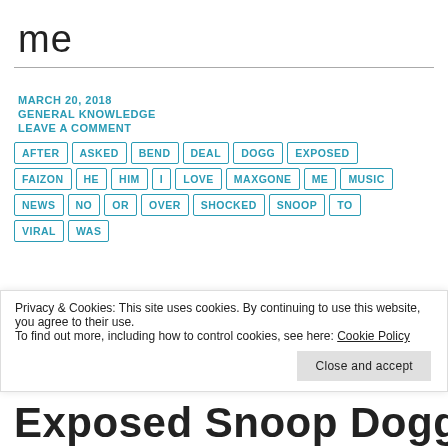me
MARCH 20, 2018
GENERAL KNOWLEDGE
LEAVE A COMMENT
AFTER
ASKED
BEND
DEAL
DOGG
EXPOSED
FAIZON
HE
HIM
I
LOVE
MAXGONE
ME
MUSIC
NEWS
NO
OR
OVER
SHOCKED
SNOOP
TO
VIRAL
WAS
Privacy & Cookies: This site uses cookies. By continuing to use this website, you agree to their use.
To find out more, including how to control cookies, see here: Cookie Policy
Close and accept
Exposed Snoop Dogg...